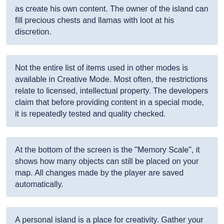structures, weapons and consumables in his world, as well as create his own content. The owner of the island can fill precious chests and llamas with loot at his discretion.
Not the entire list of items used in other modes is available in Creative Mode. Most often, the restrictions relate to licensed, intellectual property. The developers claim that before providing content in a special mode, it is repeatedly tested and quality checked.
At the bottom of the screen is the "Memory Scale", it shows how many objects can still be placed on your map. All changes made by the player are saved automatically.
A personal island is a place for creativity. Gather your own team and go on a new adventure!
[Figure (logo): Circular logo icon with eye-like design in blue tones, followed by partially visible text 'Arkon Creative' or similar]